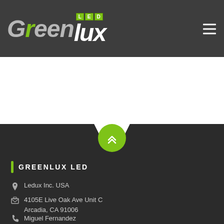[Figure (logo): GreenLux LED logo — 'Green' in silver italic, leaf accent, 'LED' in green boxes, 'lux' in white italic bold]
[Figure (illustration): White curved section with dark background and green scroll-up circular button with double chevron]
GREENLUX LED
Ledux Inc. USA
4105E Live Oak Ave Unit C
Arcadia, CA 91006
Miguel Fernandez
Cell: 813 426 0890
Ledux Canada Inc